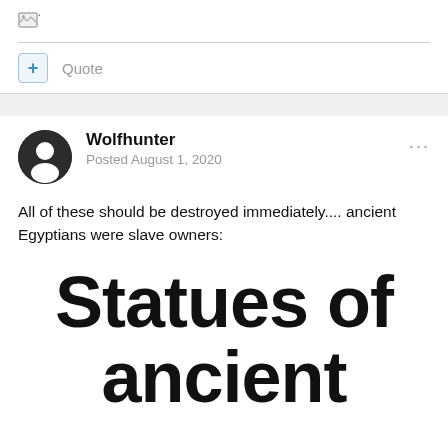[Figure (other): Broken image icon placeholder with question mark]
Quote
Wolfhunter
Posted August 1, 2020
All of these should be destroyed immediately.... ancient Egyptians were slave owners:
Statues of ancient